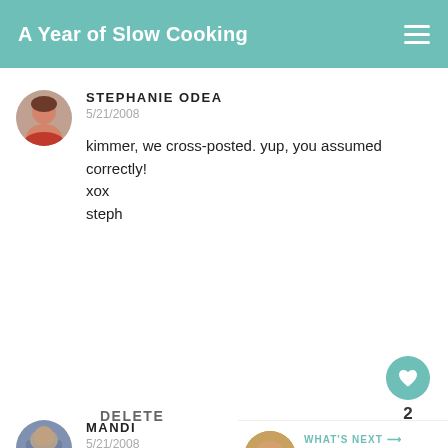A Year of Slow Cooking
STEPHANIE ODEA
5/21/2008
kimmer, we cross-posted. yup, you assumed correctly!
xox
steph
DELETE
2
MANDI
5/21/2008
WHAT'S NEXT → Whole Chicken in t...
I've never had falafel before. but these look